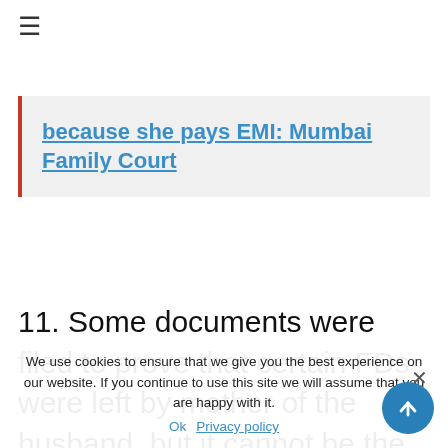≡
because she pays EMI: Mumbai Family Court
11. Some documents were filed to prove that certain FDs were left by mother of the husband, but it cannot be the exclusive property of the husband. Admittedly, the mother was survived by her husband, one son and four daughters and the most the husband at the most could be a fewthousand from interest on
We use cookies to ensure that we give you the best experience on our website. If you continue to use this site we will assume that you are happy with it.
Ok   Privacy policy